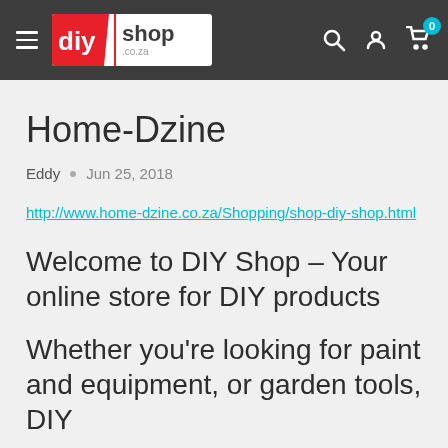DIY Shop header navigation
Home-Dzine
Eddy • Jun 25, 2018
http://www.home-dzine.co.za/Shopping/shop-diy-shop.html
Welcome to DIY Shop – Your online store for DIY products
Whether you're looking for paint and equipment, or garden tools, DIY